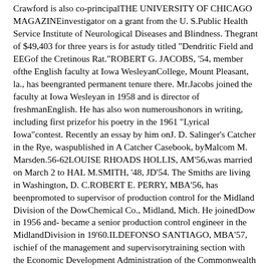Crawford is also co-principalTHE UNIVERSITY OF CHICAGO MAGAZINEinvestigator on a grant from the U. S.Public Health Service Institute of Neurological Diseases and Blindness. Thegrant of $49,403 for three years is for astudy titled "Dendritic Field and EEGof the Cretinous Rat."ROBERT G. JACOBS, '54, member ofthe English faculty at Iowa WesleyanCollege, Mount Pleasant, la., has beengranted permanent tenure there. Mr.Jacobs joined the faculty at Iowa Wesleyan in 1958 and is director of freshmanEnglish. He has also won numeroushonors in writing, including first prizefor his poetry in the 1961 "Lyrical Iowa"contest. Recently an essay by him onJ. D. Salinger's Catcher in the Rye, waspublished in A Catcher Casebook, byMalcom M. Marsden.56-62LOUISE RHOADS HOLLIS, AM'56,was married on March 2 to HAL M.SMITH, '48, JD'54. The Smiths are living in Washington, D. C.ROBERT E. PERRY, MBA'56, has beenpromoted to supervisor of production control for the Midland Division of the DowChemical Co., Midland, Mich. He joinedDow in 1956 and- became a senior production control engineer in the MidlandDivision in 19'60.ILDEFONSO SANTIAGO, MBA'57, ischief of the management and supervisorytraining section with the Economic Development Administration of the Commonwealth of Puerto Rico, Mr. Santiagolives in San Juan, Puerto Rico.SIDNEY H. LAWRENCE, MBA'58, ismanager of market research with N orman, Craig & Kummel, Inc., in New York.ANDREW L. THOMAS, '57, and hiswife, of Chicago, announce the birth ofa